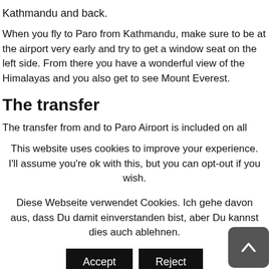Kathmandu and back.
When you fly to Paro from Kathmandu, make sure to be at the airport very early and try to get a window seat on the left side. From there you have a wonderful view of the Himalayas and you also get to see Mount Everest.
The transfer
The transfer from and to Paro Airport is included on all
This website uses cookies to improve your experience. I'll assume you're ok with this, but you can opt-out if you wish.
Diese Webseite verwendet Cookies. Ich gehe davon aus, dass Du damit einverstanden bist, aber Du kannst dies auch ablehnen.